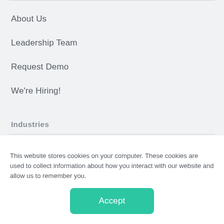About Us
Leadership Team
Request Demo
We're Hiring!
Industries
Housing and Facilities
Corporate Real Estate
Education
This website stores cookies on your computer. These cookies are used to collect information about how you interact with our website and allow us to remember you.
Accept